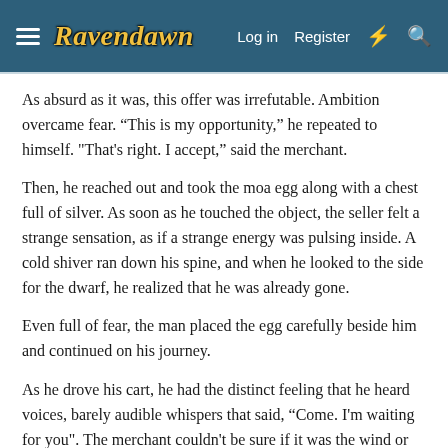Ravendawn — Log in | Register
As absurd as it was, this offer was irrefutable. Ambition overcame fear. “This is my opportunity,” he repeated to himself. "That's right. I accept,” said the merchant.
Then, he reached out and took the moa egg along with a chest full of silver. As soon as he touched the object, the seller felt a strange sensation, as if a strange energy was pulsing inside. A cold shiver ran down his spine, and when he looked to the side for the dwarf, he realized that he was already gone.
Even full of fear, the man placed the egg carefully beside him and continued on his journey.
As he drove his cart, he had the distinct feeling that he heard voices, barely audible whispers that said, “Come. I'm waiting for you". The merchant couldn't be sure if it was the wind or just his imagination.
"Fearful! You are a rich man now!" he exclaimed.